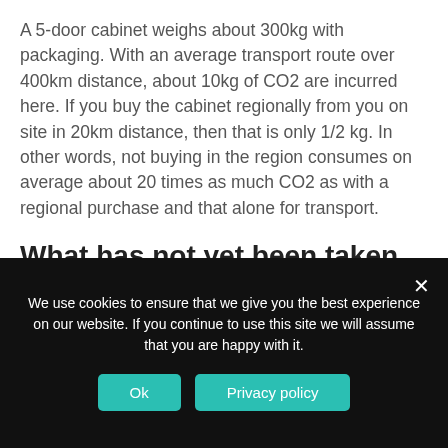A 5-door cabinet weighs about 300kg with packaging. With an average transport route over 400km distance, about 10kg of CO2 are incurred here. If you buy the cabinet regionally from you on site in 20km distance, then that is only 1/2 kg. In other words, not buying in the region consumes on average about 20 times as much CO2 as with a regional purchase and that alone for transport.
What has not yet been taken into account here: The packaging material
We use cookies to ensure that we give you the best experience on our website. If you continue to use this site we will assume that you are happy with it.